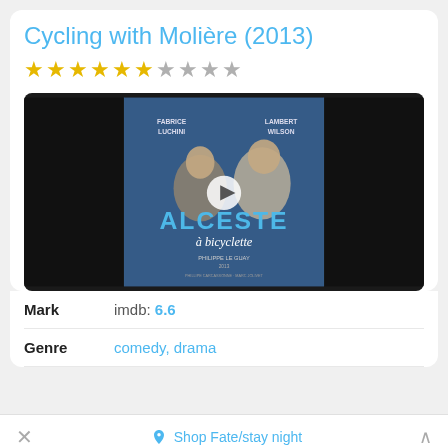Cycling with Molière (2013)
[Figure (other): Star rating: 6 filled gold stars, 1 half/gray star, 3 empty gray stars]
[Figure (photo): Movie poster for 'Alceste à bicyclette' showing two men (Fabrice Luchini and Lambert Wilson) against a blue background, with title text and director Philippe Le Guay. A play button overlay is in the center.]
| Mark | imdb: 6.6 |
| --- | --- |
| Genre | comedy, drama |
Shop Fate/stay night